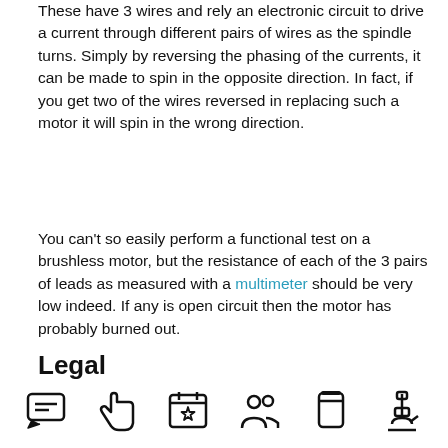These have 3 wires and rely an electronic circuit to drive a current through different pairs of wires as the spindle turns. Simply by reversing the phasing of the currents, it can be made to spin in the opposite direction. In fact, if you get two of the wires reversed in replacing such a motor it will spin in the wrong direction.
You can't so easily perform a functional test on a brushless motor, but the resistance of each of the 3 pairs of leads as measured with a multimeter should be very low indeed. If any is open circuit then the motor has probably burned out.
Legal
[Figure (other): Navigation icon bar with 6 icons: chat/message, hand/pointing left, calendar with star, two people/users, jar/canister, microscope]